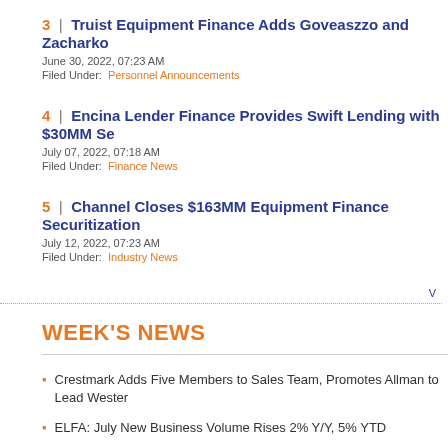3 | Truist Equipment Finance Adds Goveaszzo and Zacharko
June 30, 2022, 07:23 AM
Filed Under: Personnel Announcements
4 | Encina Lender Finance Provides Swift Lending with $30MM Se
July 07, 2022, 07:18 AM
Filed Under: Finance News
5 | Channel Closes $163MM Equipment Finance Securitization
July 12, 2022, 07:23 AM
Filed Under: Industry News
WEEK'S NEWS
Crestmark Adds Five Members to Sales Team, Promotes Allman to Lead Wester
ELFA: July New Business Volume Rises 2% Y/Y, 5% YTD